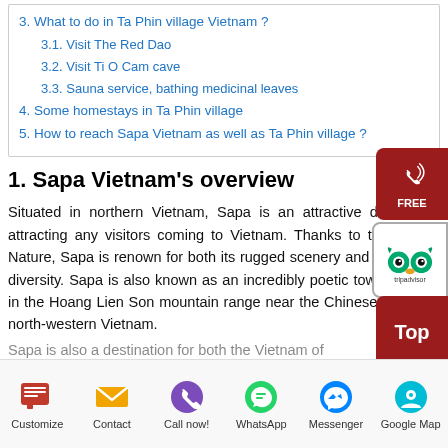3. What to do in Ta Phin village Vietnam ?
3.1. Visit The Red Dao
3.2. Visit Ti O Cam cave
3.3. Sauna service, bathing medicinal leaves
4. Some homestays in Ta Phin village
5. How to reach Sapa Vietnam as well as Ta Phin village ?
1. Sapa Vietnam's overview
Situated in northern Vietnam, Sapa is an attractive destination attracting any visitors coming to Vietnam. Thanks to the Mother Nature, Sapa is renown for both its rugged scenery and its cultural diversity. Sapa is also known as an incredibly poetic town that lies in the Hoang Lien Son mountain range near the Chinese border in north-western Vietnam.
[Figure (other): FREE call widget with phone icon (dark red background)]
[Figure (logo): TripAdvisor owl logo widget]
[Figure (other): Top button widget (dark red background)]
[Figure (other): Bottom navigation bar with icons: Customize, Contact, Call now!, WhatsApp, Messenger, Google Map]